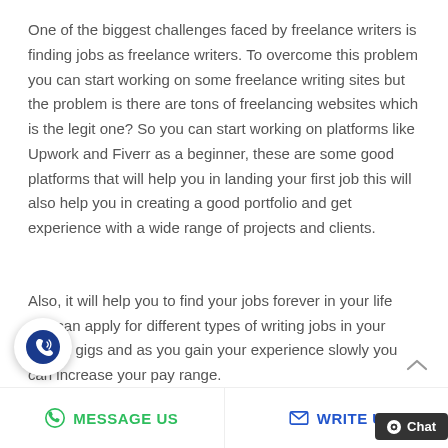One of the biggest challenges faced by freelance writers is finding jobs as freelance writers. To overcome this problem you can start working on some freelance writing sites but the problem is there are tons of freelancing websites which is the legit one? So you can start working on platforms like Upwork and Fiverr as a beginner, these are some good platforms that will help you in landing your first job this will also help you in creating a good portfolio and get experience with a wide range of projects and clients.
Also, it will help you to find your jobs forever in your life you can apply for different types of writing jobs in your writing gigs and as you gain your experience slowly you can increase your pay range.
MESSAGE US   WRITE U   Chat